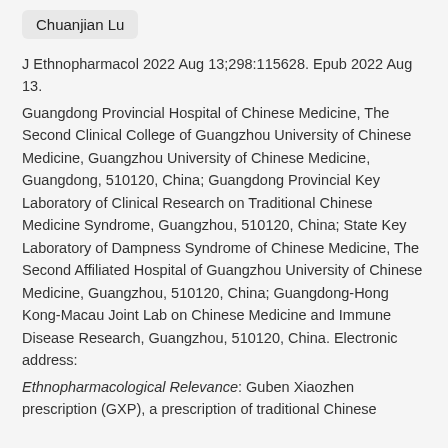Chuanjian Lu
J Ethnopharmacol 2022 Aug 13;298:115628. Epub 2022 Aug 13.
Guangdong Provincial Hospital of Chinese Medicine, The Second Clinical College of Guangzhou University of Chinese Medicine, Guangzhou University of Chinese Medicine, Guangdong, 510120, China; Guangdong Provincial Key Laboratory of Clinical Research on Traditional Chinese Medicine Syndrome, Guangzhou, 510120, China; State Key Laboratory of Dampness Syndrome of Chinese Medicine, The Second Affiliated Hospital of Guangzhou University of Chinese Medicine, Guangzhou, 510120, China; Guangdong-Hong Kong-Macau Joint Lab on Chinese Medicine and Immune Disease Research, Guangzhou, 510120, China. Electronic address:
Ethnopharmacological Relevance: Guben Xiaozhen prescription (GXP), a prescription of traditional Chinese